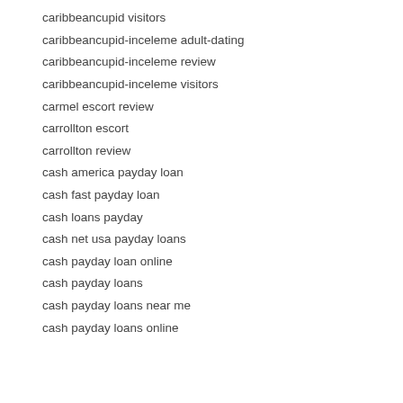caribbeancupid visitors
caribbeancupid-inceleme adult-dating
caribbeancupid-inceleme review
caribbeancupid-inceleme visitors
carmel escort review
carrollton escort
carrollton review
cash america payday loan
cash fast payday loan
cash loans payday
cash net usa payday loans
cash payday loan online
cash payday loans
cash payday loans near me
cash payday loans online